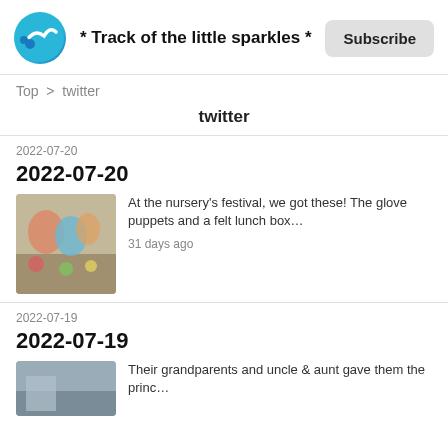* Track of the little sparkles *
Top > twitter
twitter
2022-07-20
2022-07-20
[Figure (photo): Colorful crafts including glove puppets and a felt lunch box on a table]
At the nursery's festival, we got these! The glove puppets and a felt lunch box… 31 days ago
2022-07-19
2022-07-19
[Figure (photo): Partially visible photo]
Their grandparents and uncle & aunt gave them the princ...